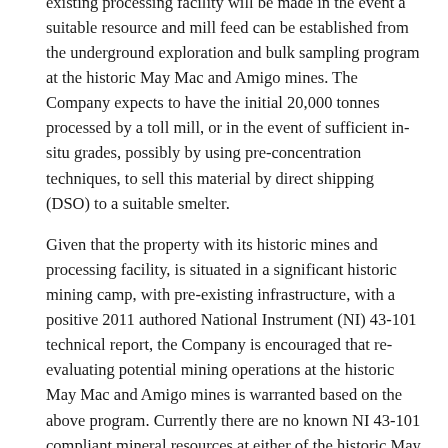existing processing facility will be made in the event a suitable resource and mill feed can be established from the underground exploration and bulk sampling program at the historic May Mac and Amigo mines. The Company expects to have the initial 20,000 tonnes processed by a toll mill, or in the event of sufficient in-situ grades, possibly by using pre-concentration techniques, to sell this material by direct shipping (DSO) to a suitable smelter.
Given that the property with its historic mines and processing facility, is situated in a significant historic mining camp, with pre-existing infrastructure, with a positive 2011 authored National Instrument (NI) 43-101 technical report, the Company is encouraged that re-evaluating potential mining operations at the historic May Mac and Amigo mines is warranted based on the above program. Currently there are no known NI 43-101 compliant mineral resources at either of the historic May Mac or Amigo mines. The May Mac Mine